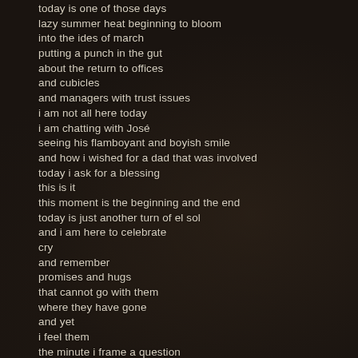today is one of those days
lazy summer heat beginning to bloom
into the ides of march
putting a punch in the gut
about the return to offices
and cubicles
and managers with trust issues
i am not all here today
i am chatting with José
seeing his flamboyant and boyish smile
and how i wished for a dad that was involved
today i ask for a blessing
this is it
this moment is the beginning and the end
today is just another turn of el sol
and i am here to celebrate
cry
and remember
promises and hugs
that cannot go with them
where they have gone
and yet
i feel them
the minute i frame a question
"do you talk to her"
this ends in another character's voice